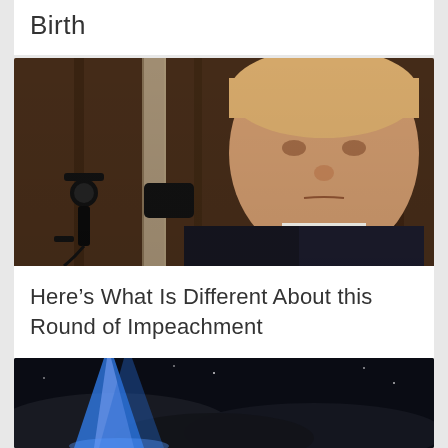Birth
[Figure (photo): Photo of Donald Trump at a podium with microphones, wearing a dark suit and red tie, with a wood-paneled background]
Here’s What Is Different About this Round of Impeachment
[Figure (photo): Dark photo with blue light beams, possibly a night scene or memorial]